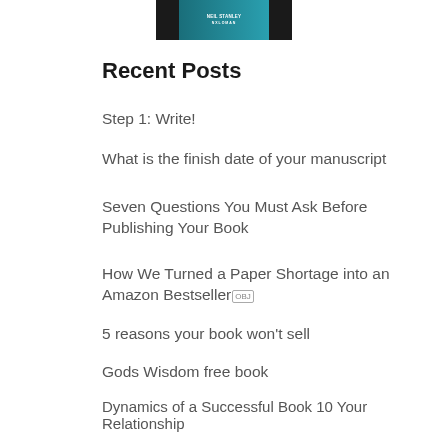[Figure (photo): Partial view of a book cover at the top of the page, showing a dark device/book with teal color and text.]
Recent Posts
Step 1: Write!
What is the finish date of your manuscript
Seven Questions You Must Ask Before Publishing Your Book
How We Turned a Paper Shortage into an Amazon Bestseller [OBJ]
5 reasons your book won't sell
Gods Wisdom free book
Dynamics of a Successful Book 10 Your Relationship
Store Policies
Privacy Policy
Shipping and Returns Policy